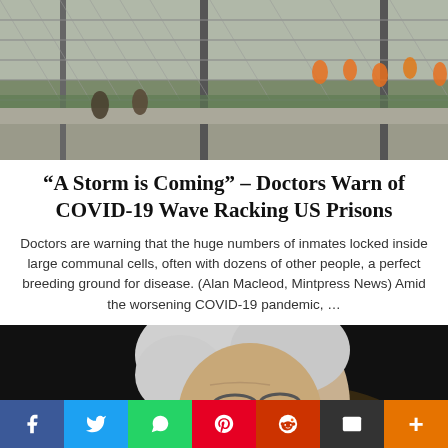[Figure (photo): Prison yard viewed through chain-link fence with inmates in orange jumpsuits visible in background]
“A Storm is Coming” – Doctors Warn of COVID-19 Wave Racking US Prisons
Doctors are warning that the huge numbers of inmates locked inside large communal cells, often with dozens of other people, a perfect breeding ground for disease. (Alan Macleod, Mintpress News) Amid the worsening COVID-19 pandemic, …
[Figure (photo): Close-up portrait of elderly white-haired man with glasses (appears to be Bernie Sanders) against dark background]
Social sharing bar: Facebook, Twitter, WhatsApp, Pinterest, Reddit, Email, More